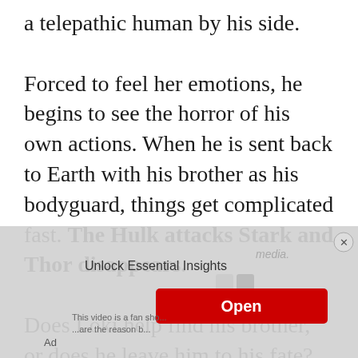a telepathic human by his side.

Forced to feel her emotions, he begins to see the horror of his own actions. When he is sent back to Earth with his brother as his bodyguard, things get complicated fast. The Hulk attacks Stark and Thor disappears.

Does Loki help find his brother, or does he leave him to his fate? With equal parts humor and seriousness, this fanfic is sure
[Figure (other): Advertisement overlay: 'Unlock Essential Insights' with Open button and Ad label, partially obscuring the text content below.]